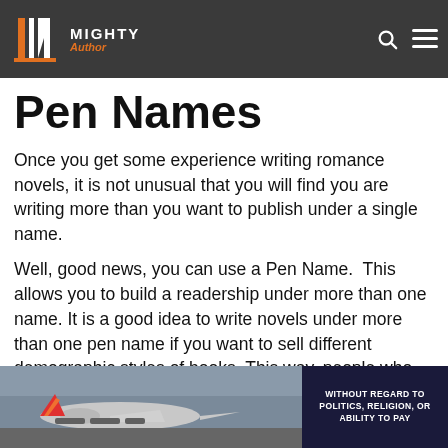MIGHTY Author
Pen Names
Once you get some experience writing romance novels, it is not unusual that you will find you are writing more than you want to publish under a single name.
Well, good news, you can use a Pen Name. This allows you to build a readership under more than one name. It is a good idea to write novels under more than one pen name if you want to sell different demographic styles of books. This way, people who like
[Figure (photo): Advertisement showing an airplane being loaded with cargo, with text overlay 'WITHOUT REGARD TO POLITICS, RELIGION, OR ABILITY TO PAY']